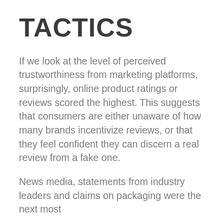TACTICS
If we look at the level of perceived trustworthiness from marketing platforms, surprisingly, online product ratings or reviews scored the highest. This suggests that consumers are either unaware of how many brands incentivize reviews, or that they feel confident they can discern a real review from a fake one.
News media, statements from industry leaders and claims on packaging were the next most